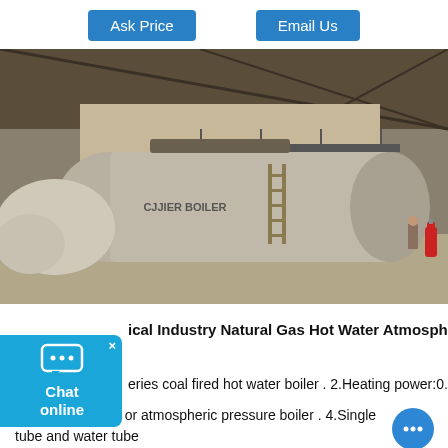Ask Price
Email Us
[Figure (photo): Industrial hot water boiler (large cylindrical tank) inside a warehouse/shed. The boiler has a logo reading 'CJJIER BOILER' on its side. A ladder leans against it. A person stands to the right near a red fire extinguisher cylinder.]
ical Industry Natural Gas Hot Water Atmospheric Pressure
eries coal fired hot water boiler . 2.Heating power:0.7Mw-14Mw
3.Pressure boiler or atmospheric pressure boiler . 4.Single tube and water tube